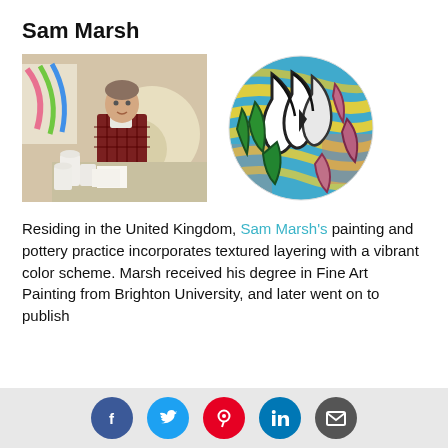Sam Marsh
[Figure (photo): Photo of Sam Marsh sitting in his studio surrounded by pottery and colorful paintings]
[Figure (illustration): Circular painting with vibrant abstract strokes — green, white, pink, and black shapes on a blue and yellow background]
Residing in the United Kingdom, Sam Marsh's painting and pottery practice incorporates textured layering with a vibrant color scheme. Marsh received his degree in Fine Art Painting from Brighton University, and later went on to publish
Social share icons: Facebook, Twitter, Pinterest, LinkedIn, Email